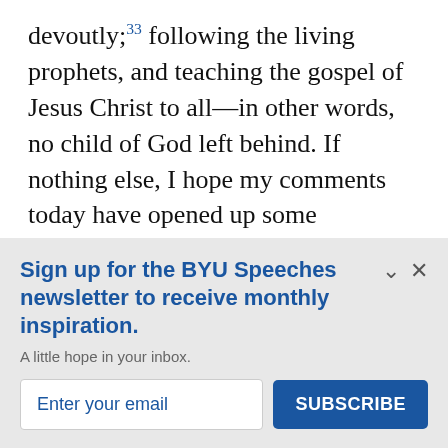devoutly;33 following the living prophets, and teaching the gospel of Jesus Christ to all—in other words, no child of God left behind. If nothing else, I hope my comments today have opened up some intriguing possibilities for you to think about.
In the end the BYU Mission Statement calls on
Sign up for the BYU Speeches newsletter to receive monthly inspiration.
A little hope in your inbox.
Enter your email
SUBSCRIBE